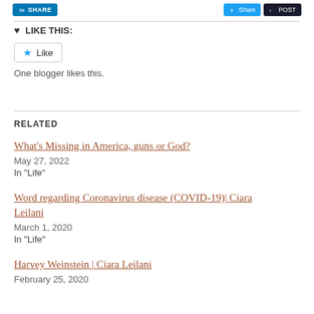[Figure (screenshot): Social share buttons: LinkedIn SHARE button (blue), Share button (blue), POST button (dark blue)]
LIKE THIS:
[Figure (screenshot): Like button with blue star icon]
One blogger likes this.
RELATED
What’s Missing in America, guns or God?
May 27, 2022
In "Life"
Word regarding Coronavirus disease (COVID-19)| Ciara Leilani
March 1, 2020
In "Life"
Harvey Weinstein | Ciara Leilani
February 25, 2020